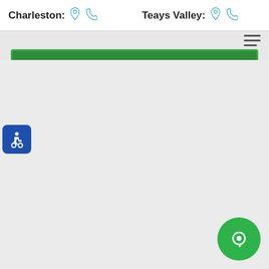Charleston:   Teays Valley:
[Figure (screenshot): Green patient registration button banner with white bold uppercase text 'PATIENT REGISTRATION']
[Figure (illustration): Blue rounded square accessibility icon with wheelchair symbol]
[Figure (illustration): Green circle chat/message button icon at bottom right]